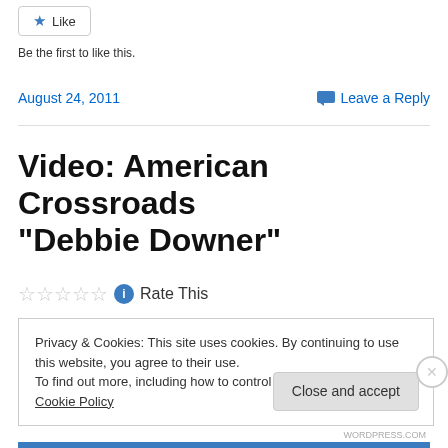Like
Be the first to like this.
August 24, 2011
Leave a Reply
Video: American Crossroads “Debbie Downer”
Rate This
Privacy & Cookies: This site uses cookies. By continuing to use this website, you agree to their use.
To find out more, including how to control cookies, see here: Cookie Policy